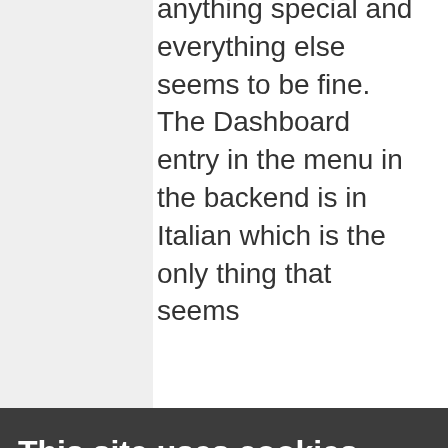anything special and everything else seems to be fine. The Dashboard entry in the menu in the backend is in Italian which is the only thing that seems
[Figure (screenshot): Screenshot of a backend dashboard settings or login form with fields and a red button]
Am I right in assuming that
This site uses cookies.
Some of the cookies we use are essential for parts of the site to operate and have already been set. We also use Google Analytics scripts, which all use cookies.
You may delete or block all cookies from this site in your browser options.
CLOSE
More